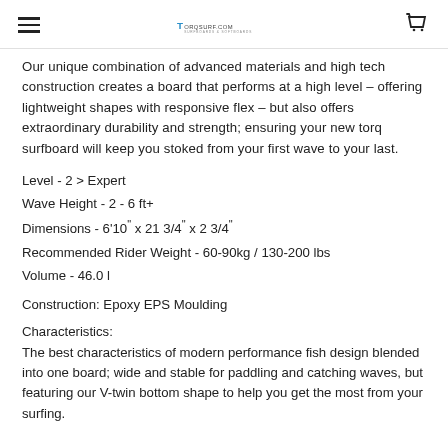Torq Surfboards
Our unique combination of advanced materials and high tech construction creates a board that performs at a high level – offering lightweight shapes with responsive flex – but also offers extraordinary durability and strength; ensuring your new torq surfboard will keep you stoked from your first wave to your last.
Level - 2 > Expert
Wave Height - 2 - 6 ft+
Dimensions - 6'10" x 21 3/4" x 2 3/4"
Recommended Rider Weight - 60-90kg / 130-200 lbs
Volume - 46.0 l
Construction: Epoxy EPS Moulding
Characteristics:
The best characteristics of modern performance fish design blended into one board; wide and stable for paddling and catching waves, but featuring our V-twin bottom shape to help you get the most from your surfing.